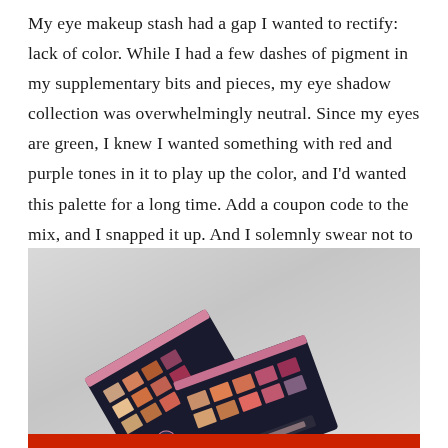My eye makeup stash had a gap I wanted to rectify: lack of color. While I had a few dashes of pigment in my supplementary bits and pieces, my eye shadow collection was overwhelmingly neutral. Since my eyes are green, I knew I wanted something with red and purple tones in it to play up the color, and I'd wanted this palette for a long time. Add a coupon code to the mix, and I snapped it up. And I solemnly swear not to buy any more eyeshadows until I've hit pan on what I've got.
[Figure (photo): Photo of two eyeshadow palettes with colorful (red, orange, pink, brown, purple) shades, displayed at an angle against a light grey/white background. A red accent bar is visible at the bottom of the image.]